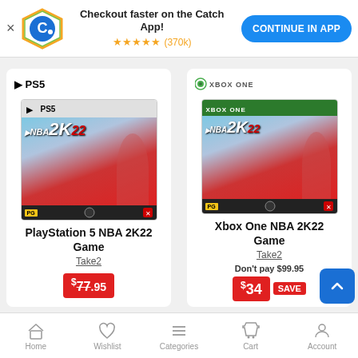[Figure (screenshot): Catch app banner with logo, 5-star rating (370k), and Continue in App button]
[Figure (photo): PlayStation 5 NBA 2K22 game cover art]
PlayStation 5 NBA 2K22 Game
Take2
$77.95
[Figure (photo): Xbox One NBA 2K22 game cover art]
Xbox One NBA 2K22 Game
Take2
Don't pay $99.95
$34 SAVE
Home  Wishlist  Categories  Cart  Account